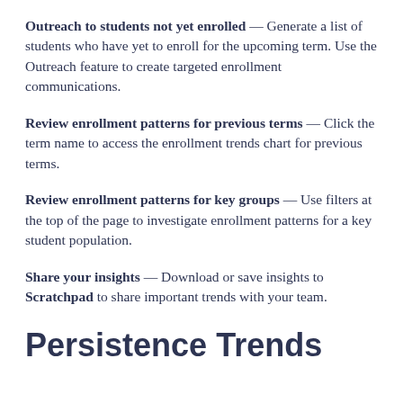Outreach to students not yet enrolled — Generate a list of students who have yet to enroll for the upcoming term. Use the Outreach feature to create targeted enrollment communications.
Review enrollment patterns for previous terms — Click the term name to access the enrollment trends chart for previous terms.
Review enrollment patterns for key groups — Use filters at the top of the page to investigate enrollment patterns for a key student population.
Share your insights — Download or save insights to Scratchpad to share important trends with your team.
Persistence Trends